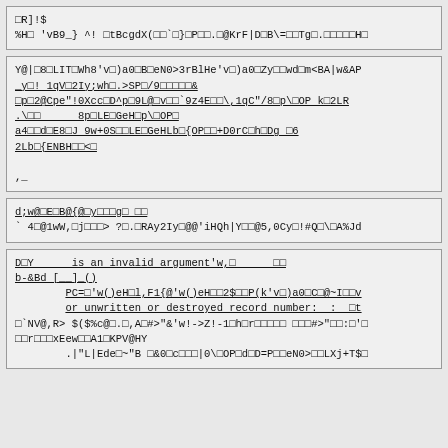□R]!$
%H□ 'vB9_} ^! □tBcgdX(□□`□}□P□□.□@KrF|D□B\=□□Tg□.□□□□□H□
Y@|□8□LIT□Wh8'v□)a0□B□eN0>3rBlHe'v□)a0□Zy□□wd□m<BA|w&AP
_y□! 1qV□2Iy;wh□.>SP□/9□□□□□&
□p□2@Cpe"!0Xcc□D^p□9L@□v□□`9z4E□□\,1qC"/8□p\□OP k□2LR
.\□□      8p□LE□GeH□p\□OP□
a4□□d□E8□J 9w+0S□□LE□GeHLb□{OP□□+D0rC□h□Dg □6
2Lb□{ENBH□□<□
,_
d;w@□E□B@{@□y□□□g□ □□
` 4□@1wW,□j□□□> ?□.□RAy2Iy□@@'iHQh|Y□□@5,0Cy□!#Q□\□A%Jd
D□Y      is an invalid argument'w,□      □□
b-&Bd [__]_()
        PC=□'w()eH□l,F1{@'w()eH□□2$□□P(k'v□)a0□C□@~I□□v
        or unwritten or destroyed record number:  :  □t
□`NV@,R> $($%c@□.□,A□#>"&'w!->Z!-1□h□r□□□□□ □□□#>"□□:□'□
□□r□□□xEew□□A1□KPV@HY
        .|"L|Ede□~"B □&0□c□□□|0\□OP□d□D=P□□eN0>□□LXj+T$□